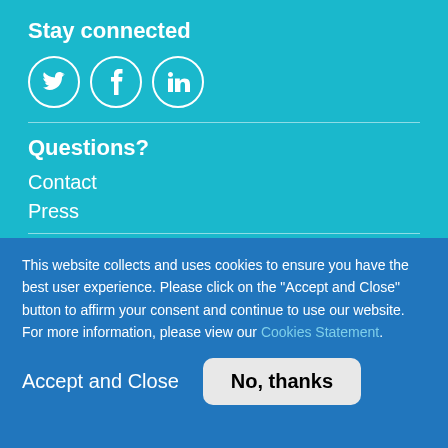Stay connected
[Figure (illustration): Three social media icons in white circles on teal background: Twitter bird, Facebook f, LinkedIn in]
Questions?
Contact
Press
Sign up for email
Enter your email address *
This website collects and uses cookies to ensure you have the best user experience. Please click on the "Accept and Close" button to affirm your consent and continue to use our website. For more information, please view our Cookies Statement.
Accept and Close
No, thanks